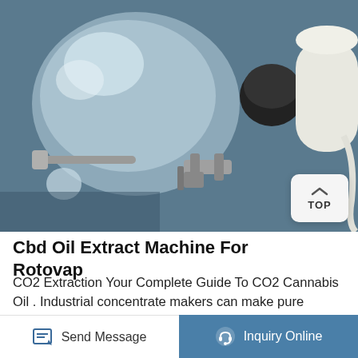[Figure (photo): Close-up photograph of a rotovap (rotary evaporator) machine showing glass flask, metal fittings, black cap connectors, and white cylindrical components]
Cbd Oil Extract Machine For Rotovap
CO2 Extraction Your Complete Guide To CO2 Cannabis Oil . Industrial concentrate makers can make pure cannabis extracts with the consistency of oil shatter budder or wax just as easily with the same CO2 machine simply by varying and fine tuning the temperature pressure solvent to feed
Send Message   Inquiry Online